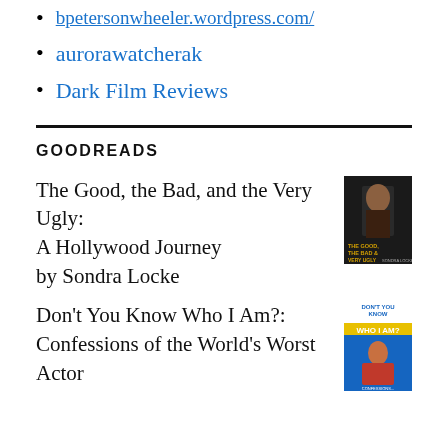bpetersonwheeler.wordpress.com/
aurorawatcherak
Dark Film Reviews
GOODREADS
The Good, the Bad, and the Very Ugly: A Hollywood Journey by Sondra Locke
[Figure (illustration): Book cover of The Good, the Bad, and the Very Ugly by Sondra Locke — dark cover]
Don't You Know Who I Am?: Confessions of the World's Worst Actor
[Figure (illustration): Book cover of Don't You Know Who I Am? — colorful cover with man in superhero pose]